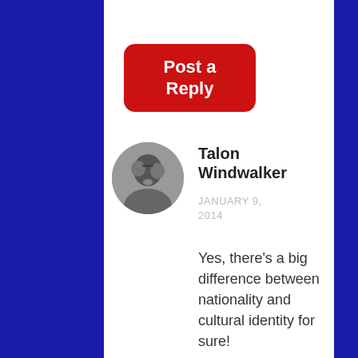[Figure (other): Red rounded rectangle button with white bold text reading 'Post a Reply']
[Figure (photo): Circular avatar photo of a person in black and white]
Talon Windwalker
JANUARY 9, 2014
Yes, there's a big difference between nationality and cultural identity for sure!